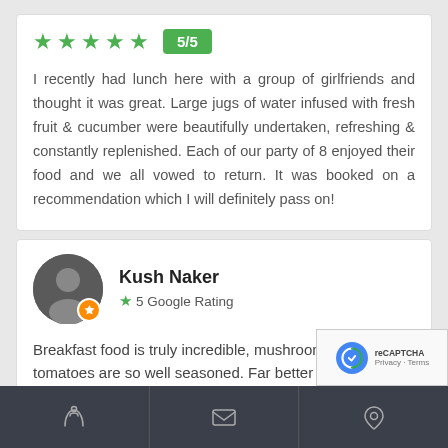[Figure (other): Five green stars rating with a green badge showing 5/5]
I recently had lunch here with a group of girlfriends and thought it was great. Large jugs of water infused with fresh fruit & cucumber were beautifully undertaken, refreshing & constantly replenished. Each of our party of 8 enjoyed their food and we all vowed to return. It was booked on a recommendation which I will definitely pass on!
Kush Naker
5 Google Rating
Breakfast food is truly incredible, mushroom and tomatoes are so well seasoned. Far better than a st
3 months ago